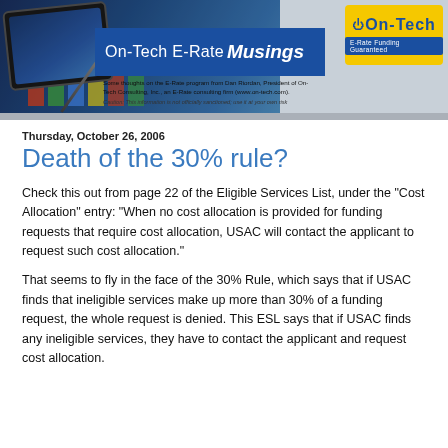[Figure (illustration): On-Tech E-Rate Musings newsletter banner with tablet/charts photo background, blue title bar reading 'On-Tech E-Rate Musings', yellow On-Tech logo, and subtext crediting Dan Riordan, President of On-Tech Consulting, Inc.]
Thursday, October 26, 2006
Death of the 30% rule?
Check this out from page 22 of the Eligible Services List, under the "Cost Allocation" entry: "When no cost allocation is provided for funding requests that require cost allocation, USAC will contact the applicant to request such cost allocation."
That seems to fly in the face of the 30% Rule, which says that if USAC finds that ineligible services make up more than 30% of a funding request, the whole request is denied. This ESL says that if USAC finds any ineligible services, they have to contact the applicant and request cost allocation.